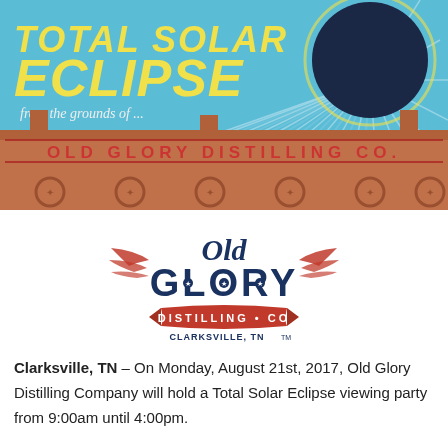[Figure (illustration): Total Solar Eclipse promotional banner with sky-blue background, radiating sun rays, dark moon circle in upper right, yellow bold italic text reading TOTAL SOLAR ECLIPSE, italic subtitle from the grounds of..., and Old Glory Distilling Co. building/sign with brick-red facade and decorative elements]
[Figure (logo): Old Glory Distilling Co. logo with navy blue text, red wings, stars, and banner ribbon reading DISTILLING CO, CLARKSVILLE, TN with TM mark]
Clarksville, TN – On Monday, August 21st, 2017, Old Glory Distilling Company will hold a Total Solar Eclipse viewing party from 9:00am until 4:00pm.